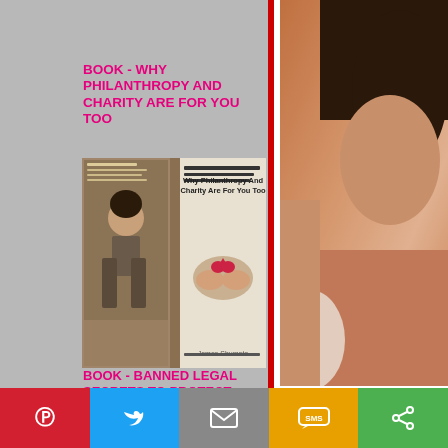BOOK - WHY PHILANTHROPY AND CHARITY ARE FOR YOU TOO
[Figure (photo): Book cover for 'Why Philanthropy And Charity Are For You Too' by James Shumate, showing two book covers side by side]
BOOK - BANNED LEGAL SECRETS TO PROTECT YOUR LEGAL RIGHTS EVERYDAY
[Figure (photo): Book cover for 'Banned Legal Secrets To Protect Your Legal Rights Everyday']
[Figure (photo): Photo of a person on the right side of the page]
you buy a great outfit in t... illicit a complement, whic... hopes that you will be noth... encounter. Or you try you... want at your bed side. Or... because of your EGO tha...